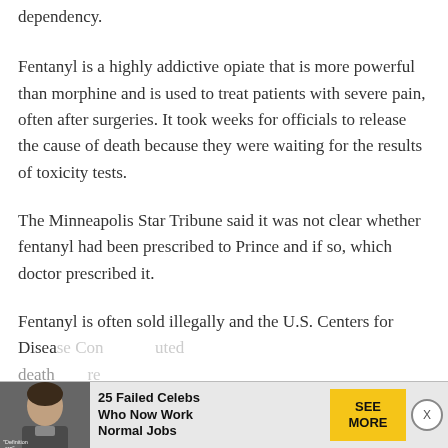dependency.
Fentanyl is a highly addictive opiate that is more powerful than morphine and is used to treat patients with severe pain, often after surgeries. It took weeks for officials to release the cause of death because they were waiting for the results of toxicity tests.
The Minneapolis Star Tribune said it was not clear whether fentanyl had been prescribed to Prince and if so, which doctor prescribed it.
Fentanyl is often sold illegally and the U.S. Centers for Disease Control...
[Figure (other): Advertisement banner at bottom of page showing a person's face, text '25 Failed Celebs Who Now Work Normal Jobs', a yellow 'SEE MORE' button, and a close (X) button. The ad has a 'Definition.org' watermark.]